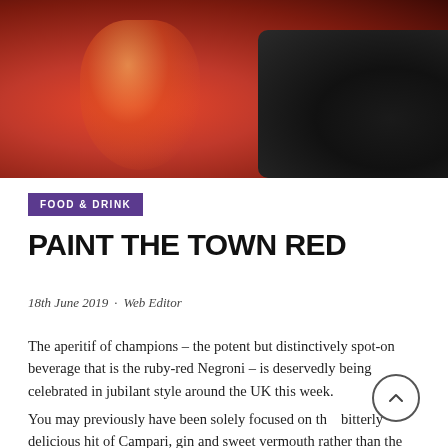[Figure (photo): A red Negroni cocktail in a cut-glass tumbler on a silver coaster, garnished with an orange slice, next to a dish of black olives and a red book in the background.]
FOOD & DRINK
PAINT THE TOWN RED
18th June 2019  ·  Web Editor
The aperitif of champions – the potent but distinctively spot-on beverage that is the ruby-red Negroni – is deservedly being celebrated in jubilant style around the UK this week.
You may previously have been solely focused on that bitterly delicious hit of Campari, gin and sweet vermouth rather than the origins of the Italian cocktail staple, but to fill